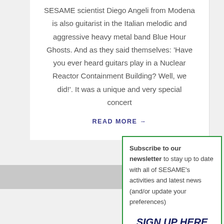SESAME scientist Diego Angeli from Modena is also guitarist in the Italian melodic and aggressive heavy metal band Blue Hour Ghosts. And as they said themselves: ‘Have you ever heard guitars play in a Nuclear Reactor Containment Building? Well, we did!’. It was a unique and very special concert
READ MORE →
Subscribe to our newsletter to stay up to date with all of SESAME’s activities and latest news (and/or update your preferences)
SIGN UP HERE